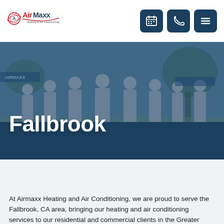[Figure (logo): AirMaxx Heating & Air Conditioning logo with circular icon on left and stylized text]
[Figure (infographic): Navigation header icons: calendar/schedule icon, phone icon, and hamburger menu icon — all on dark navy rounded square buttons]
[Figure (photo): Hero banner photo of a team of uniformed HVAC technicians standing together, overlaid with dark blue tint and large white bold text reading 'Fallbrook', with a dark blue chevron/wave shape below]
Fallbrook
At Airmaxx Heating and Air Conditioning, we are proud to serve the Fallbrook, CA area, bringing our heating and air conditioning services to our residential and commercial clients in the Greater